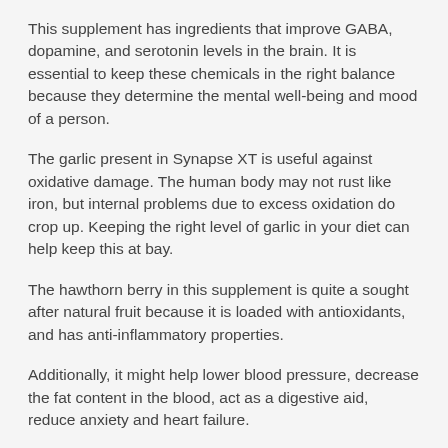This supplement has ingredients that improve GABA, dopamine, and serotonin levels in the brain. It is essential to keep these chemicals in the right balance because they determine the mental well-being and mood of a person.
The garlic present in Synapse XT is useful against oxidative damage. The human body may not rust like iron, but internal problems due to excess oxidation do crop up. Keeping the right level of garlic in your diet can help keep this at bay.
The hawthorn berry in this supplement is quite a sought after natural fruit because it is loaded with antioxidants, and has anti-inflammatory properties.
Additionally, it might help lower blood pressure, decrease the fat content in the blood, act as a digestive aid, reduce anxiety and heart failure.
With rapid ageing, people also start losing their hair to pattern baldness and hair thinning. Hawthorn berry can help promote healthy hair growth.